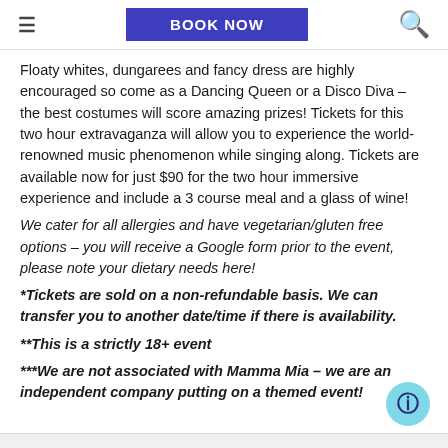BOOK NOW
Floaty whites, dungarees and fancy dress are highly encouraged so come as a Dancing Queen or a Disco Diva – the best costumes will score amazing prizes! Tickets for this two hour extravaganza will allow you to experience the world-renowned music phenomenon while singing along. Tickets are available now for just $90 for the two hour immersive experience and include a 3 course meal and a glass of wine!
We cater for all allergies and have vegetarian/gluten free options – you will receive a Google form prior to the event, please note your dietary needs here!
*Tickets are sold on a non-refundable basis. We can transfer you to another date/time if there is availability.
**This is a strictly 18+ event
***We are not associated with Mamma Mia – we are an independent company putting on a themed event!